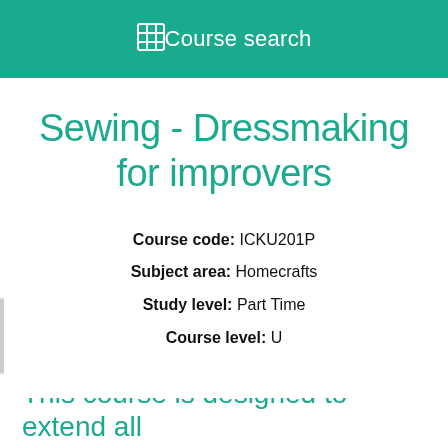Course search
Sewing - Dressmaking for improvers
Course code: ICKU201P
Subject area: Homecrafts
Study level: Part Time
Course level: U
This course is designed to extend all